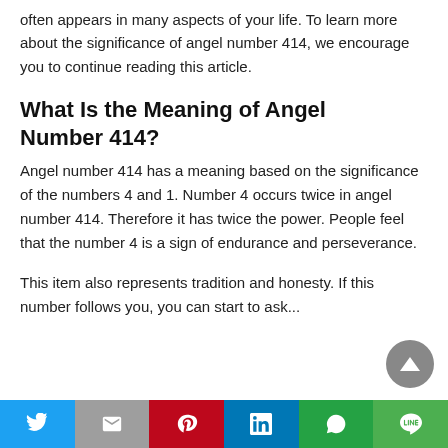often appears in many aspects of your life. To learn more about the significance of angel number 414, we encourage you to continue reading this article.
What Is the Meaning of Angel Number 414?
Angel number 414 has a meaning based on the significance of the numbers 4 and 1. Number 4 occurs twice in angel number 414. Therefore it has twice the power. People feel that the number 4 is a sign of endurance and perseverance.
This item also represents tradition and honesty. If this number follows you, you can start to ask...